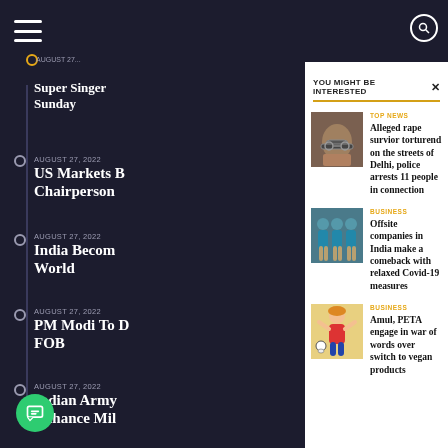YOU MIGHT BE INTERESTED
TOP NEWS
Alleged rape survior torturend on the streets of Delhi, police arrests 11 people in connection
BUSINESS
Offsite companies in India make a comeback with relaxed Covid-19 measures
BUSINESS
Amul, PETA engage in war of words over switch to vegan products
Super Singer Sunday
AUGUST 27, 2022 US Markets B... Chairperson
AUGUST 27, 2022 India Becom... World
AUGUST 27, 2022 PM Modi To D... FOB
AUGUST 27, 2022 Indian Army... Enhance Mil...